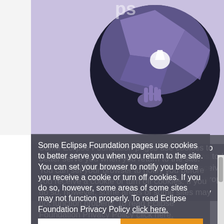[Figure (illustration): Eclipse DemoCamp logo: a stylized circular icon on purple background with geometric shapes and a hand reaching up, set on a light lavender background. Partially cropped at top of page.]
What is an Eclipse DemoCamp?
Contents [hide]
1 Location
2 Presenters
3 Organizers
4 Sponsors
5 Agenda
6 Details
7 Who Is Attending
Some Eclipse Foundation pages use cookies to better serve you when you return to the site. You can set your browser to notify you before you receive a cookie or turn off cookies. If you do so, however, some areas of some sites may not function properly. To read Eclipse Foundation Privacy Policy click here.
Decline
Allow cookies
Location
Fraunhofer FOKUS
Kaiserin-Augusta-Allee 31
10589 Berlin